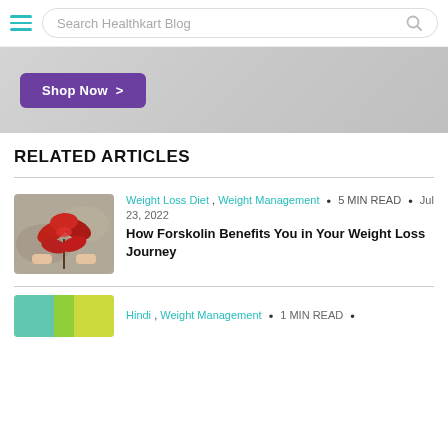Search Healthkart Blog
[Figure (other): Banner advertisement with 'Shop Now >' button on a light grey textured background]
RELATED ARTICLES
[Figure (photo): Hands holding red flowers/leaves plant]
Weight Loss Diet , Weight Management • 5 MIN READ • Jul 23, 2022
How Forskolin Benefits You in Your Weight Loss Journey
[Figure (photo): Partial image of second article thumbnail showing colorful background]
Hindi , Weight Management • 1 MIN READ •